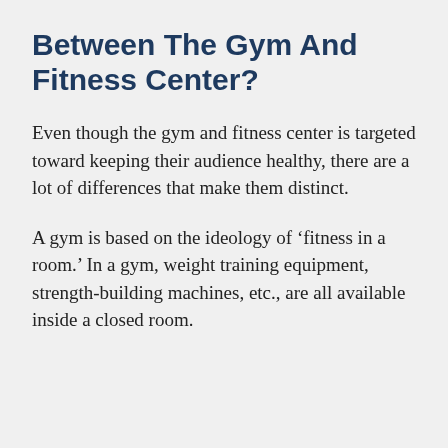Between The Gym And Fitness Center?
Even though the gym and fitness center is targeted toward keeping their audience healthy, there are a lot of differences that make them distinct.
A gym is based on the ideology of ‘fitness in a room.’ In a gym, weight training equipment, strength-building machines, etc., are all available inside a closed room.